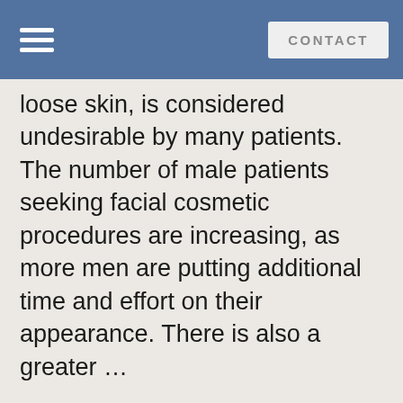CONTACT
loose skin, is considered undesirable by many patients. The number of male patients seeking facial cosmetic procedures are increasing, as more men are putting additional time and effort on their appearance. There is also a greater …
READ MORE